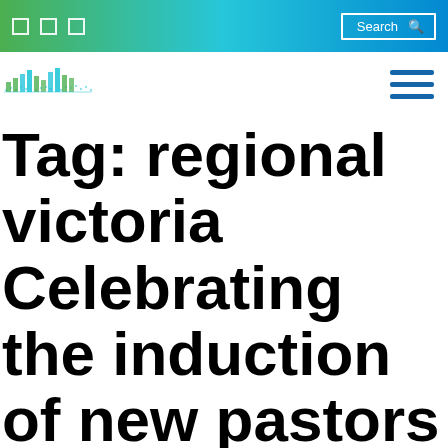Search
[Figure (logo): City or municipal statistics logo with bar chart and dotted grid pattern in teal/green colors]
Tag: regional victoria Celebrating the induction of new pastors in regional Victoria